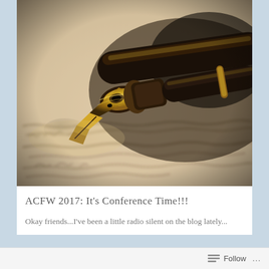[Figure (photo): Close-up macro photograph of a gold fountain pen nib resting on handwritten cursive text on aged paper. The nib is metallic gold/bronze with an engraved pattern. The background shows blurred cursive handwriting on beige/cream paper.]
ACFW 2017: It's Conference Time!!!
Okay friends...I've been a little radio silent on the blog lately...
Follow ...